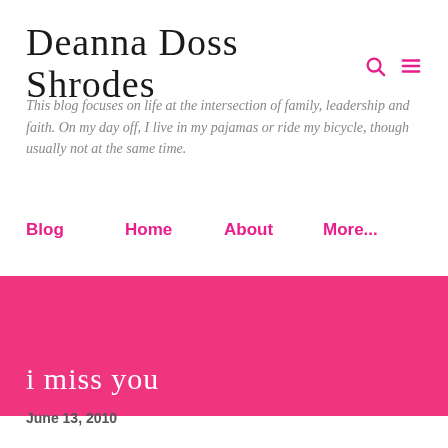Deanna Doss Shrodes
This blog focuses on life at the intersection of family, leadership and faith. On my day off, I live in my pajamas or ride my bicycle, though usually not at the same time.
Blog
Home
About
More...
i miss you
June 13, 2010